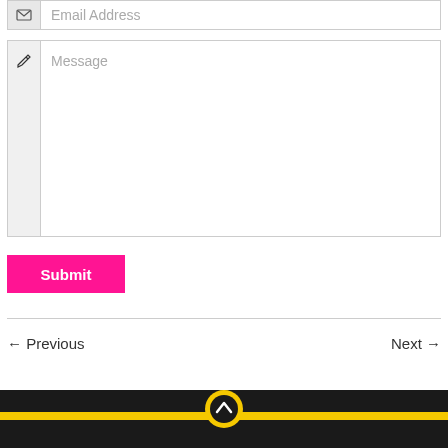[Figure (screenshot): Email address input field with envelope icon on the left and placeholder text 'Email Address']
[Figure (screenshot): Message textarea input field with pencil icon on the left and placeholder text 'Message']
Submit
← Previous
Next →
[Figure (screenshot): Dark footer with yellow bar and circular scroll-to-top button with upward chevron icon]